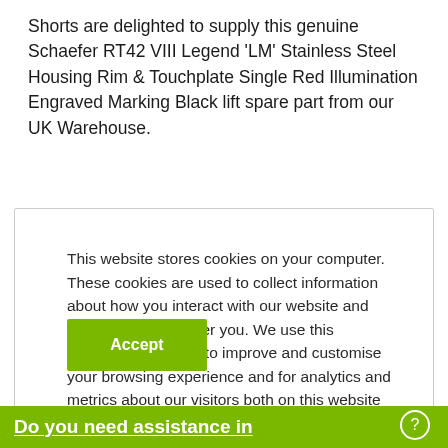Shorts are delighted to supply this genuine Schaefer RT42 VIII Legend 'LM' Stainless Steel Housing Rim & Touchplate Single Red Illumination Engraved Marking Black lift spare part from our UK Warehouse.
This website stores cookies on your computer. These cookies are used to collect information about how you interact with our website and allow us to remember you. We use this information in order to improve and customise your browsing experience and for analytics and metrics about our visitors both on this website and other media. To find out more about the cookies we use, see our Privacy Policy.
Accept
Do you need assistance in